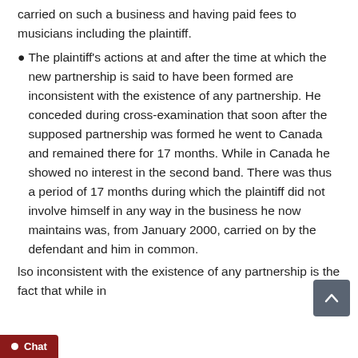carried on such a business and having paid fees to musicians including the plaintiff.
The plaintiff's actions at and after the time at which the new partnership is said to have been formed are inconsistent with the existence of any partnership. He conceded during cross-examination that soon after the supposed partnership was formed he went to Canada and remained there for 17 months. While in Canada he showed no interest in the second band. There was thus a period of 17 months during which the plaintiff did not involve himself in any way in the business he now maintains was, from January 2000, carried on by the defendant and him in common.
Also inconsistent with the existence of any partnership is the fact that while in